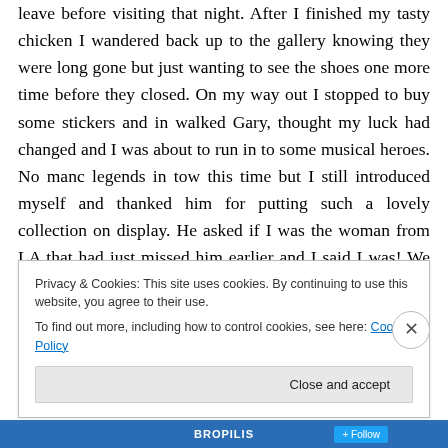leave before visiting that night. After I finished my tasty chicken I wandered back up to the gallery knowing they were long gone but just wanting to see the shoes one more time before they closed. On my way out I stopped to buy some stickers and in walked Gary, thought my luck had changed and I was about to run in to some musical heroes. No manc legends in tow this time but I still introduced myself and thanked him for putting such a lovely collection on display. He asked if I was the woman from LA that had just missed him earlier and I said I was! We chatted for a few minutes before he asked what I was
Privacy & Cookies: This site uses cookies. By continuing to use this website, you agree to their use.
To find out more, including how to control cookies, see here: Cookie Policy
Close and accept